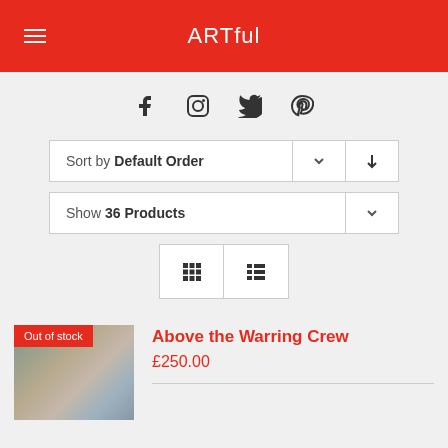ARTful
[Figure (other): Social media icons: Facebook, Instagram, Twitter, Pinterest]
Sort by Default Order
Show 36 Products
[Figure (other): View toggle buttons: grid view and list view]
Out of stock
Above the Warring Crew
£250.00